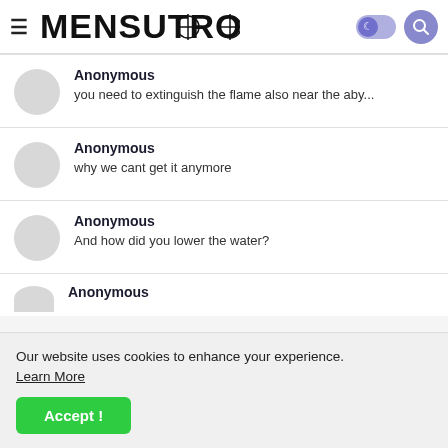MENSUTROPRO
Anonymous
you need to extinguish the flame also near the aby...
Anonymous
why we cant get it anymore
Anonymous
And how did you lower the water?
Anonymous
Our website uses cookies to enhance your experience. Learn More
Accept !